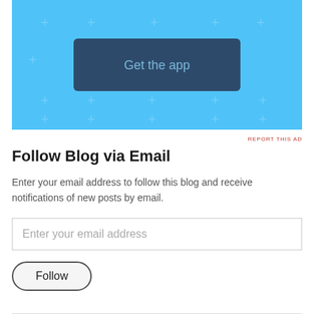[Figure (screenshot): Light blue advertisement banner with a dark blue 'Get the app' button and decorative plus marks scattered across the background]
REPORT THIS AD
Follow Blog via Email
Enter your email address to follow this blog and receive notifications of new posts by email.
Enter your email address
Follow
Join 7,566 other followers